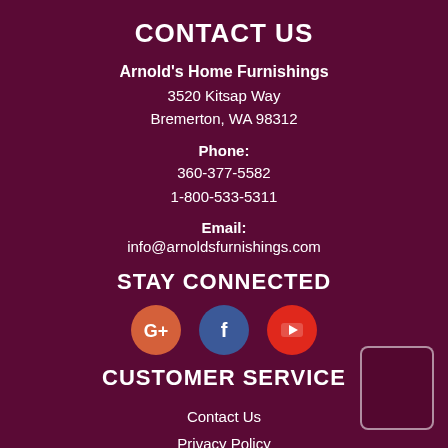CONTACT US
Arnold's Home Furnishings
3520 Kitsap Way
Bremerton, WA 98312
Phone:
360-377-5582
1-800-533-5311
Email:
info@arnoldsfurnishings.com
STAY CONNECTED
[Figure (illustration): Three social media icons: Google+, Facebook, YouTube]
CUSTOMER SERVICE
Contact Us
Privacy Policy